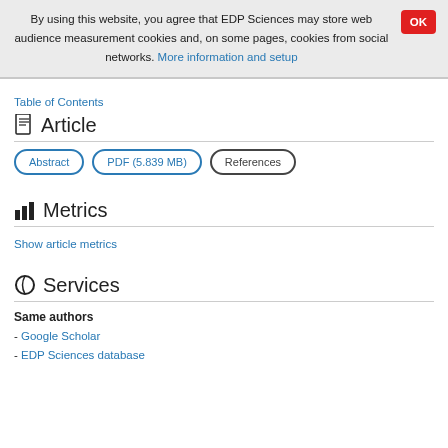By using this website, you agree that EDP Sciences may store web audience measurement cookies and, on some pages, cookies from social networks. More information and setup
Table of Contents
Article
Abstract | PDF (5.839 MB) | References
Metrics
Show article metrics
Services
Same authors
- Google Scholar
- EDP Sciences database